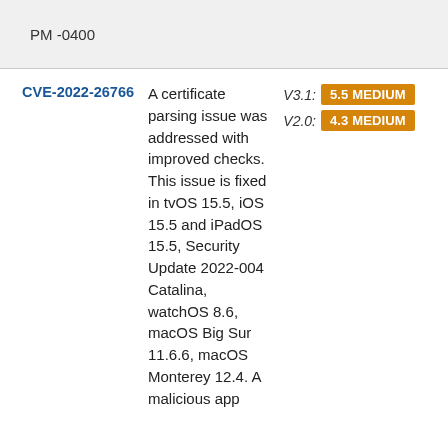PM -0400
| CVE ID | Description | Score |
| --- | --- | --- |
| CVE-2022-26766 | A certificate parsing issue was addressed with improved checks. This issue is fixed in tvOS 15.5, iOS 15.5 and iPadOS 15.5, Security Update 2022-004 Catalina, watchOS 8.6, macOS Big Sur 11.6.6, macOS Monterey 12.4. A malicious app | V3.1: 5.5 MEDIUM
V2.0: 4.3 MEDIUM |